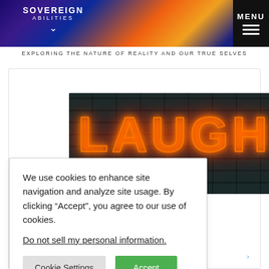SOVEREIGN ABILITIES — EXPLORING THE NATURE OF REALITY AND OUR TRUE SELVES
[Figure (photo): Neon sign spelling LAUGH in glowing red-orange letters on a dark brick wall background]
We use cookies to enhance site navigation and analyze site usage. By clicking “Accept”, you agree to our use of cookies.
Do not sell my personal information.